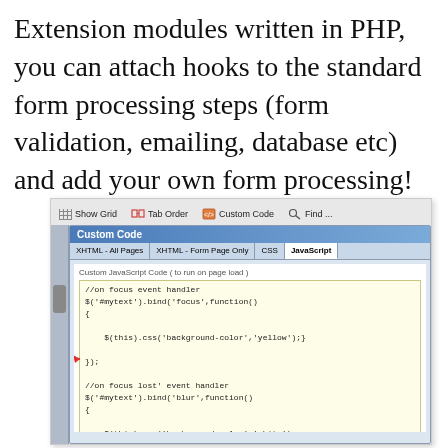Extension modules written in PHP, you can attach hooks to the standard form processing steps (form validation, emailing, database etc) and add your own form processing!
[Figure (screenshot): Screenshot of a Custom Code dialog in a form builder application, showing toolbar buttons (Show Grid, Tab Order, Custom Code, Find), a dialog with tabs (XHTML - All Pages, XHTML - Form Page Only, CSS, JavaScript), and a code editor area with JavaScript code including focus and blur event handlers using jQuery. A red arrow points to a line of code.]